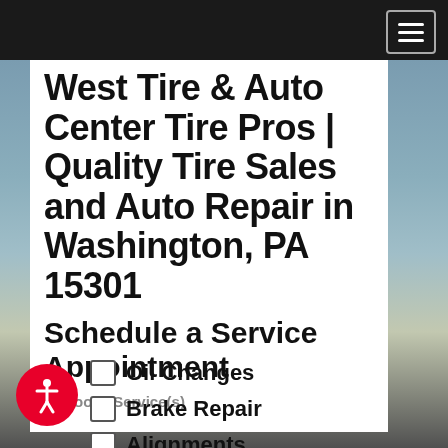West Tire & Auto Center Tire Pros | Quality Tire Sales and Auto Repair in Washington, PA 15301
West Tire & Auto Center Tire Pros | Quality Tire Sales and Auto Repair in Washington, PA 15301
Schedule a Service Appointment
Choose Service(s)
Oil Changes
Brake Repair
Alignments